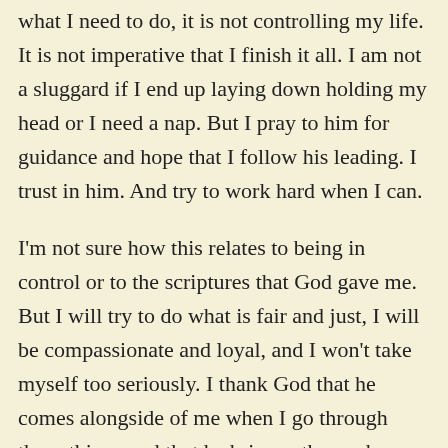what I need to do, it is not controlling my life. It is not imperative that I finish it all. I am not a sluggard if I end up laying down holding my head or I need a nap. But I pray to him for guidance and hope that I follow his leading. I trust in him. And try to work hard when I can.
I'm not sure how this relates to being in control or to the scriptures that God gave me. But I will try to do what is fair and just, I will be compassionate and loyal, and I won't take myself too seriously. I thank God that he comes alongside of me when I go through these things and that he brings others who come alongside of me to help me or that I may help them in some way.
Micah 6:8 But he's already made it plain how to live, what